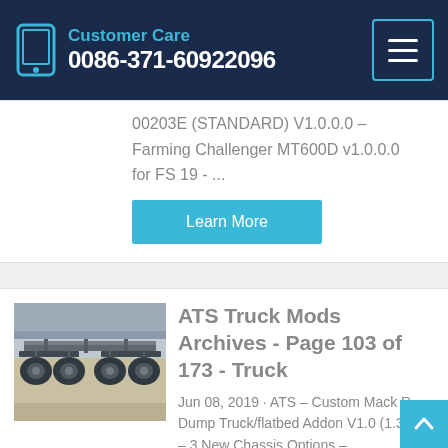Customer Care
0086-371-60922096
00203E (STANDARD) V1.0.0.0 - Farming Challenger MT600D v1.0.0.0 for FS 19 - ...
Learn More
[Figure (photo): Undercarriage view of a truck showing chassis and axle components]
ATS Truck Mods Archives - Page 103 of 173 - Truck
Jun 08, 2019 · ATS – Custom Mack R Dump Truck/flatbed Addon V1.0 (1.35.x) – 3 New Chassis Options –